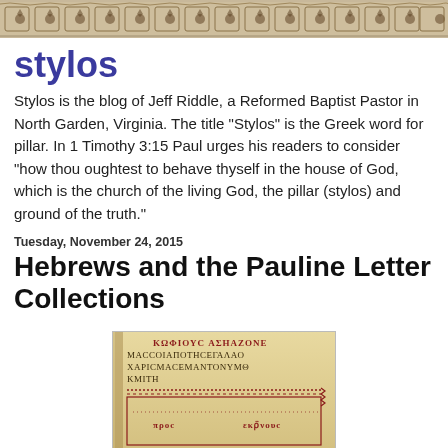[Figure (photo): Decorative banner with ornate patterned design in brown/gold tones at the top of the page]
stylos
Stylos is the blog of Jeff Riddle, a Reformed Baptist Pastor in North Garden, Virginia. The title "Stylos" is the Greek word for pillar. In 1 Timothy 3:15 Paul urges his readers to consider "how thou oughtest to behave thyself in the house of God, which is the church of the living God, the pillar (stylos) and ground of the truth."
Tuesday, November 24, 2015
Hebrews and the Pauline Letter Collections
[Figure (photo): Ancient Greek manuscript page showing lines of red and black Greek text with decorative elements and borders]